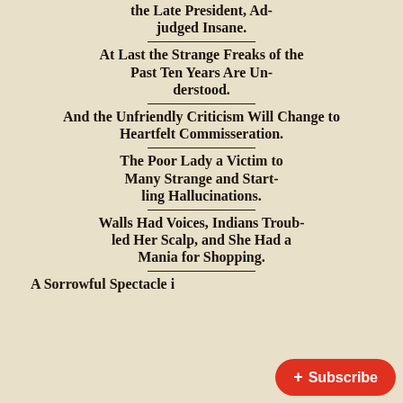the Late President, Adjudged Insane.
At Last the Strange Freaks of the Past Ten Years Are Understood.
And the Unfriendly Criticism Will Change to Heartfelt Commisseration.
The Poor Lady a Victim to Many Strange and Startling Hallucinations.
Walls Had Voices, Indians Troubled Her Scalp, and She Had a Mania for Shopping.
A Sorrowful Spectacle i…